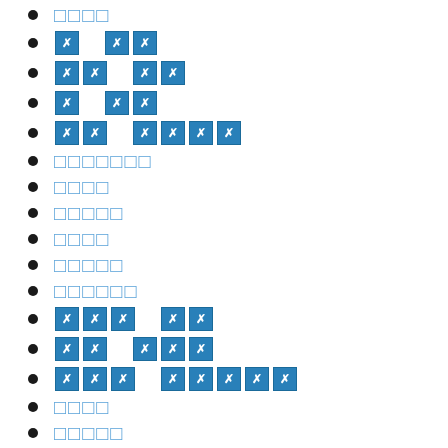[redacted text]
[redacted boxes] [redacted boxes]
[redacted boxes] [redacted boxes]
[redacted boxes] [redacted boxes]
[redacted boxes] [redacted boxes]
[plain text 7 chars]
[plain text 4 chars]
[plain text 5 chars]
[plain text 4 chars]
[plain text 5 chars]
[plain text 6 chars]
[redacted boxes] [redacted boxes]
[redacted boxes] [redacted boxes]
[redacted boxes] [redacted boxes]
[plain text 4 chars]
[plain text 5 chars]
[plain text 5 chars]